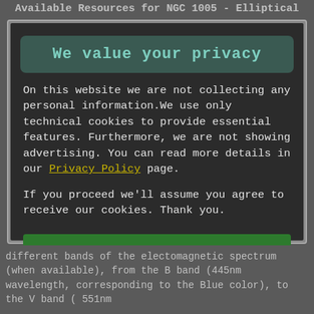Available Resources for NGC 1005 - Elliptical
We value your privacy
On this website we are not collecting any personal information.We use only technical cookies to provide essential features. Furthermore, we are not showing advertising. You can read more details in our Privacy Policy page.
If you proceed we'll assume you agree to receive our cookies. Thank you.
Proceed to TheSkyLive.com
different bands of the electomagnetic spectrum (when available), from the B band (445nm wavelength, corresponding to the Blue color), to the V band ( 551nm